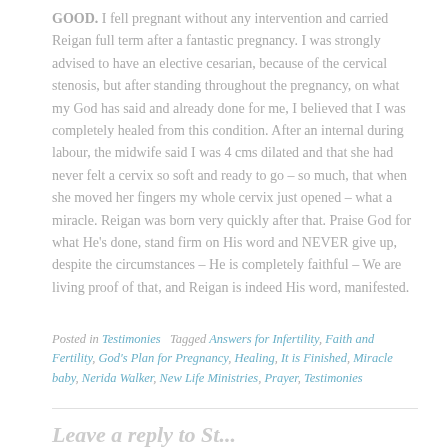GOOD.  I fell pregnant without any intervention and carried Reigan full term after a fantastic pregnancy. I was strongly advised to have an elective cesarian, because of the cervical stenosis, but after standing throughout the pregnancy, on what my God has said and already done for me, I believed that I was completely healed from this condition. After an internal during labour, the midwife said I was 4 cms dilated and that she had never felt a cervix so soft and ready to go – so much, that when she moved her fingers my whole cervix just opened – what a miracle. Reigan was born very quickly after that.  Praise God for what He's done, stand firm on His word and NEVER give up, despite the circumstances – He is completely faithful – We are living proof of that, and Reigan is indeed His word, manifested.
Posted in Testimonies   Tagged Answers for Infertility, Faith and Fertility, God's Plan for Pregnancy, Healing, It is Finished, Miracle baby, Nerida Walker, New Life Ministries, Prayer, Testimonies
Leave a reply to St...